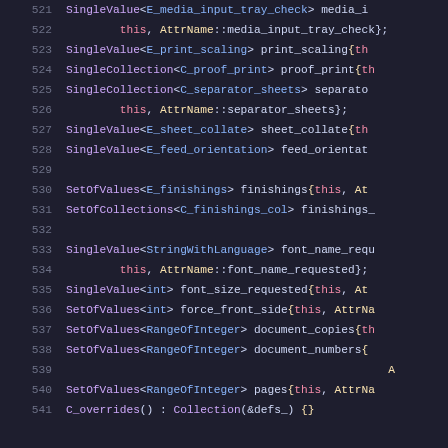Source code listing, lines 521-541, C++ code with syntax highlighting showing SingleValue, SingleCollection, SetOfValues, SetOfCollections template types with member variable declarations